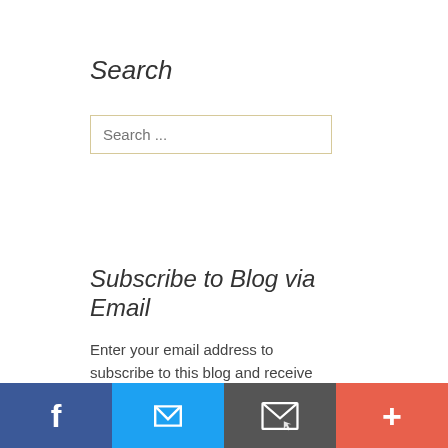Search
[Figure (screenshot): Search input box with placeholder text 'Search ...']
Subscribe to Blog via Email
Enter your email address to subscribe to this blog and receive notifications of new posts by email.
Join 3 other subscribers
[Figure (screenshot): Email Address input box with placeholder text 'Email Address']
[Figure (infographic): Social sharing bar with four buttons: Facebook (blue), Twitter (light blue), Email/envelope (dark grey), More/plus (orange-red)]